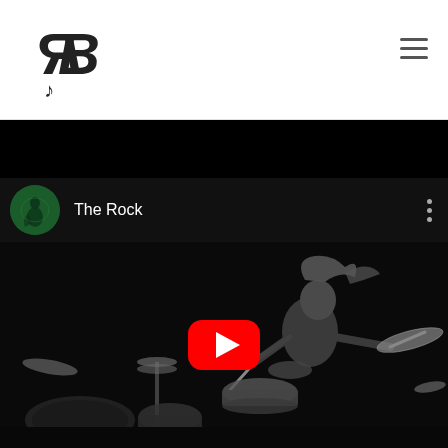[Figure (logo): RB music logo with stylized letters R and B and a music note]
[Figure (screenshot): YouTube embedded video player showing 'The Rock' channel with a drummer playing in black and white, YouTube play button overlay in red]
The Rock